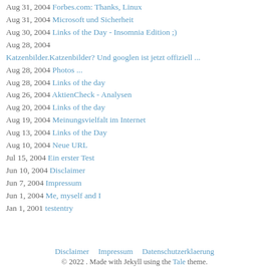Aug 31, 2004 Forbes.com: Thanks, Linux
Aug 31, 2004 Microsoft und Sicherheit
Aug 30, 2004 Links of the Day - Insomnia Edition ;)
Aug 28, 2004 Katzenbilder.Katzenbilder? Und googlen ist jetzt offiziell ...
Aug 28, 2004 Photos ...
Aug 28, 2004 Links of the day
Aug 26, 2004 AktienCheck - Analysen
Aug 20, 2004 Links of the day
Aug 19, 2004 Meinungsvielfalt im Internet
Aug 13, 2004 Links of the Day
Aug 10, 2004 Neue URL
Jul 15, 2004 Ein erster Test
Jun 10, 2004 Disclaimer
Jun 7, 2004 Impressum
Jun 1, 2004 Me, myself and I
Jan 1, 2001 testentry
Disclaimer  Impressum  Datenschutzerklaerung  © 2022 . Made with Jekyll using the Tale theme.